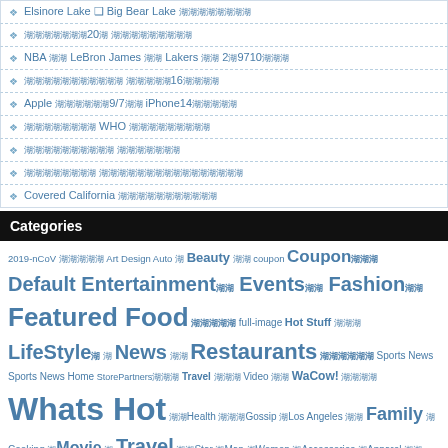❖ Elsinore Lake ❑ Big Bear Lake 湖湖湖湖湖湖湖湖
❖ 湖湖湖湖湖湖湖20湖 湖湖湖湖湖湖湖湖湖
❖ NBA 湖湖 LeBron James 湖湖 Lakers 湖湖 2湖9710湖湖湖
❖ 湖湖湖湖湖湖湖湖湖湖湖 湖湖湖湖湖16湖湖湖湖
❖ Apple 湖湖湖湖湖湖9/7湖湖 iPhone14湖湖湖湖湖
❖ 湖湖湖湖湖湖湖湖 WHO 湖湖湖湖湖湖湖湖湖
❖ 湖湖湖湖湖湖湖湖湖湖 湖湖湖湖湖湖湖
❖ 湖湖湖湖湖湖湖湖 湖湖湖湖湖湖湖湖湖湖湖湖湖湖湖湖
❖ Covered California 湖湖湖湖湖湖湖湖湖湖湖
Categories
2019-nCoV 湖湖湖湖湖 Art Design Auto 湖 Beauty 湖湖 coupon Coupon湖湖湖 Default Entertainment湖湖 Events湖湖 Fashion湖湖 Featured Food 湖湖湖湖湖 full-image Hot Stuff 湖湖湖 LifeStyle湖 湖 News 湖湖 Restaurants 湖湖湖湖湖湖 Sports News Sports News Home StorePartners湖湖湖 Travel 湖湖湖 Video 湖湖 WaCow! 湖湖湖湖 Whats Hot 湖湖Health 湖湖湖Gossip 湖Los Angeles 湖湖 Family 湖Cooking 湖Movie 湖 Travel 湖湖Star 湖Map 湖Women 湖Accessories 湖Apparel 湖湖Beauty 湖American